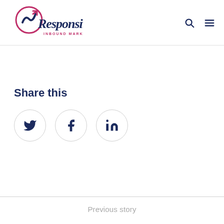[Figure (logo): Responsive Inbound Marketing logo with stylized M icon and brand name]
Share this
[Figure (infographic): Social sharing buttons: Twitter, Facebook, LinkedIn icons in circular outlines]
Previous story